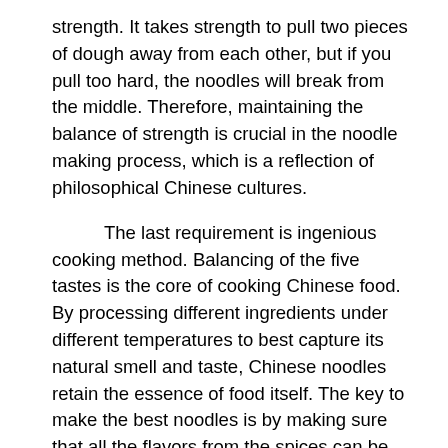strength. It takes strength to pull two pieces of dough away from each other, but if you pull too hard, the noodles will break from the middle. Therefore, maintaining the balance of strength is crucial in the noodle making process, which is a reflection of philosophical Chinese cultures.
The last requirement is ingenious cooking method. Balancing of the five tastes is the core of cooking Chinese food. By processing different ingredients under different temperatures to best capture its natural smell and taste, Chinese noodles retain the essence of food itself. The key to make the best noodles is by making sure that all the flavors from the spices can be stimulated and exploited to the max. Controlling the temperature of the vegetable oil and the time of stirring the scallions, gingers and garlics are two most important tasks for the chef. The chemical reaction that took place within the pot